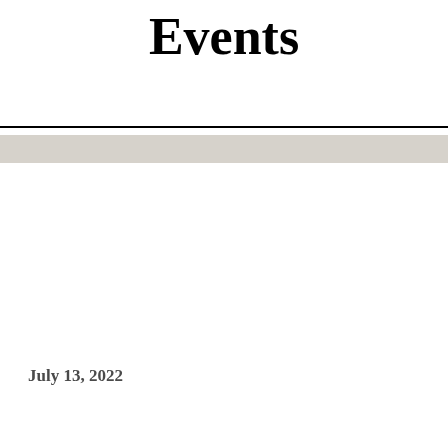Events
[Figure (other): Horizontal gray decorative bar beneath divider line]
July 13, 2022